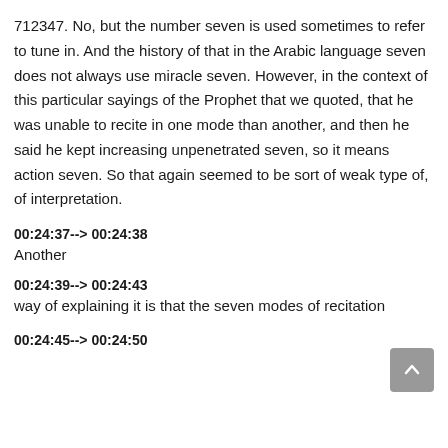712347. No, but the number seven is used sometimes to refer to tune in. And the history of that in the Arabic language seven does not always use miracle seven. However, in the context of this particular sayings of the Prophet that we quoted, that he was unable to recite in one mode than another, and then he said he kept increasing unpenetrated seven, so it means action seven. So that again seemed to be sort of weak type of, of interpretation.
00:24:37--> 00:24:38
Another
00:24:39--> 00:24:43
way of explaining it is that the seven modes of recitation
00:24:45--> 00:24:50